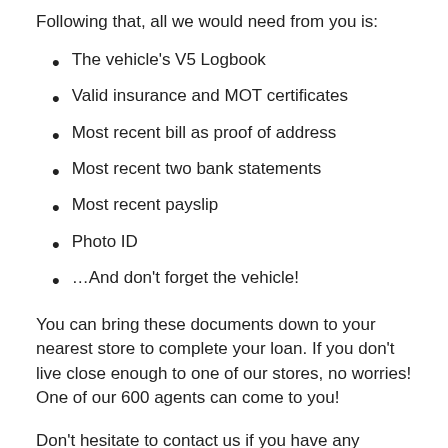Following that, all we would need from you is:
The vehicle's V5 Logbook
Valid insurance and MOT certificates
Most recent bill as proof of address
Most recent two bank statements
Most recent payslip
Photo ID
…And don't forget the vehicle!
You can bring these documents down to your nearest store to complete your loan. If you don't live close enough to one of our stores, no worries! One of our 600 agents can come to you!
Don't hesitate to contact us if you have any questions or would like any more information. Come into one of